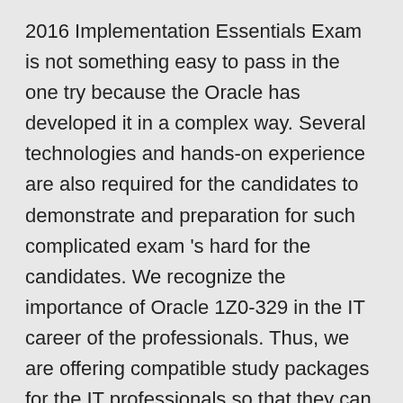2016 Implementation Essentials Exam is not something easy to pass in the one try because the Oracle has developed it in a complex way. Several technologies and hands-on experience are also required for the candidates to demonstrate and preparation for such complicated exam 's hard for the candidates. We recognize the importance of Oracle 1Z0-329 in the IT career of the professionals. Thus, we are offering compatible study packages for the IT professionals so that they can attempt the Oracle 1Z0-329 in the best manner by scoring maximum marks. The Oracle Oracle Global Human Resources Cloud 2016 Implementation Essentials Exam especially focuses on the time management. We offer such learning packages which can provide the candidates with in-depth learning methodologies and can also help them to learn the time management for the